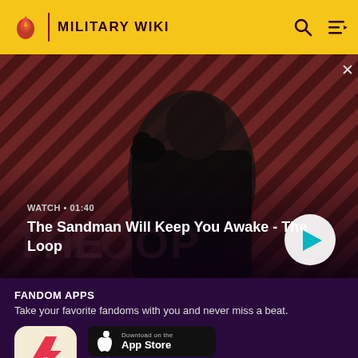MILITARY WIKI
[Figure (screenshot): Video banner for 'The Sandman Will Keep You Awake - The Loop' with a person in dark clothing and a bird on shoulder, diagonal stripe background in red/dark tones, WATCH • 01:40 label, and a circular play button]
The Sandman Will Keep You Awake - The Loop
FANDOM APPS
Take your favorite fandoms with you and never miss a beat.
[Figure (logo): Fandom app icon - flame/heart shape in red/pink on cream background]
[Figure (screenshot): Download on the App Store button]
[Figure (screenshot): GET IT ON Google Play button]